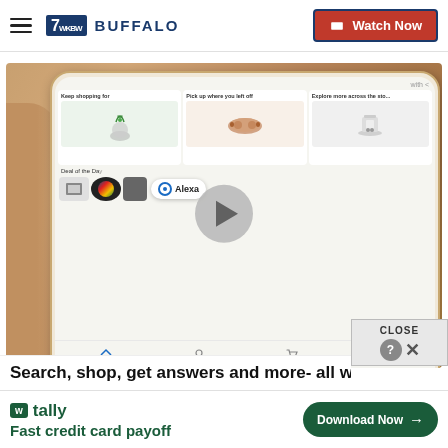7 WKBW Buffalo | Watch Now
[Figure (screenshot): Video thumbnail showing a hand holding a smartphone displaying the Amazon app with product recommendations (plant, sunglasses, shoes), Alexa bar, play button overlay, and 00:30 timer. Products sections: Keep shopping for, Pick up where you left off, Explore more across the store, Deal of the Day.]
Search, shop, get answers and more- all with
[Figure (screenshot): Tally app advertisement banner: tally logo with 'Fast credit card payoff' text and 'Download Now' button]